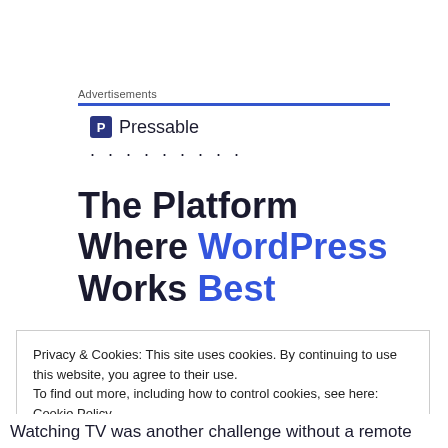Advertisements
[Figure (logo): Pressable logo with dark blue square icon containing letter P and the word Pressable, followed by a row of dots]
The Platform Where WordPress Works Best
Privacy & Cookies: This site uses cookies. By continuing to use this website, you agree to their use.
To find out more, including how to control cookies, see here: Cookie Policy

Close and accept
Watching TV was another challenge without a remote